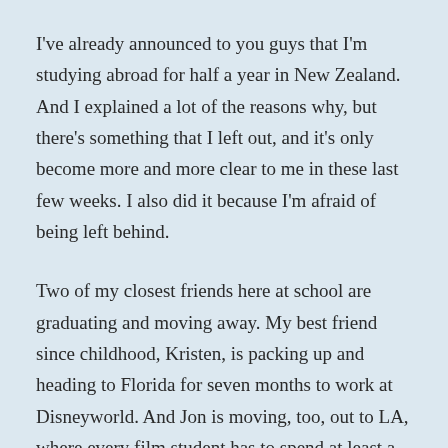I've already announced to you guys that I'm studying abroad for half a year in New Zealand. And I explained a lot of the reasons why, but there's something that I left out, and it's only become more and more clear to me in these last few weeks. I also did it because I'm afraid of being left behind.
Two of my closest friends here at school are graduating and moving away. My best friend since childhood, Kristen, is packing up and heading to Florida for seven months to work at Disneyworld. And Jon is moving, too, out to LA, where every film student has to spend at least a few years sitting in traffic and making big choices. I'm so happy for all of them, and so lucky to be involved in each of their lives. I can't wait for all of the crazy, fantastic things that